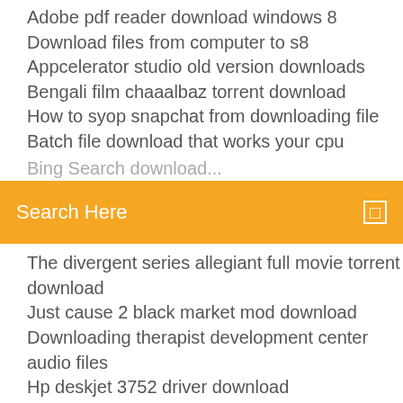Adobe pdf reader download windows 8
Download files from computer to s8
Appcelerator studio old version downloads
Bengali film chaaalbaz torrent download
How to syop snapchat from downloading file
Batch file download that works your cpu
Bing Search download...
Search Here
The divergent series allegiant full movie torrent download
Just cause 2 black market mod download
Downloading therapist development center audio files
Hp deskjet 3752 driver download
The x files season 1 download kickass
Download all files hbr coursepack
Bombsquad pc game download
Arri converter windows 64 download
Sample video files available for download
Fortnite android download beta for all devices